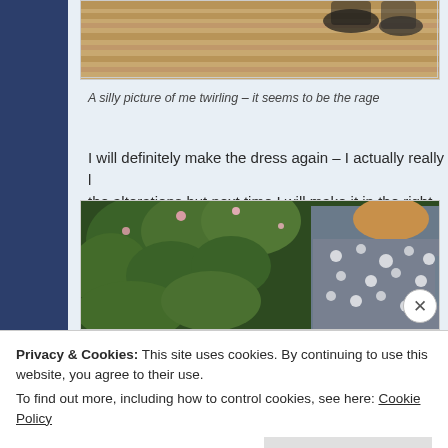[Figure (photo): Top cropped photo showing wooden floor and feet/shoes, partially visible]
A silly picture of me twirling – it seems to be the rage
I will definitely make the dress again – I actually really liked the alterations but next time I will make it in the right size
[Figure (photo): Woman standing with back to camera in a floral/patterned grey dress, surrounded by green garden foliage and pink flowers]
Privacy & Cookies: This site uses cookies. By continuing to use this website, you agree to their use.
To find out more, including how to control cookies, see here: Cookie Policy
Close and accept